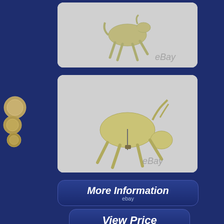[Figure (photo): Top photo of a silver horse brooch/pin figurine in running pose, shown from front, with eBay watermark]
[Figure (photo): Bottom photo of the back side of the same silver horse brooch/pin showing the pin mechanism, with eBay watermark]
[Figure (illustration): Decorative circular medallion/coin element on the left edge of the page]
More Information
ebay
View Price